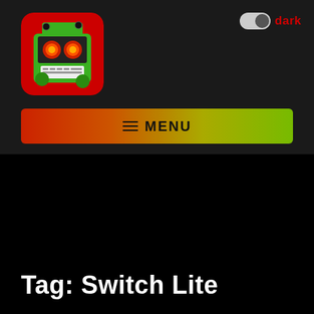[Figure (logo): Green robot/train character app icon with red eyes on red background]
dark
≡ MENU
Tag: Switch Lite